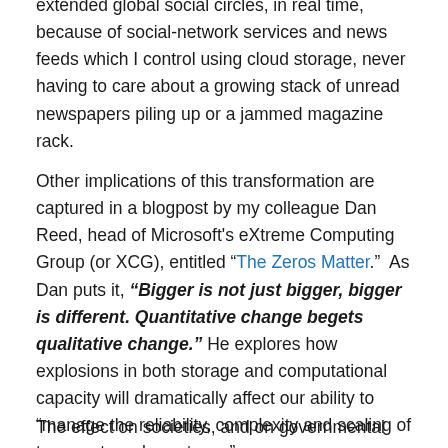extended global social circles, in real time, because of social-network services and news feeds which I control using cloud storage, never having to care about a growing stack of unread newspapers piling up or a jammed magazine rack.
Other implications of this transformation are captured in a blogpost by my colleague Dan Reed, head of Microsoft's eXtreme Computing Group (or XCG), entitled “The Zeros Matter.”  As Dan puts it, “Bigger is not just bigger, bigger is different. Quantitative change begets qualitative change.” He explores how explosions in both storage and computational capacity will dramatically affect our ability to “manage the reliability, complexity and scaling of trans-petascale systems.”
The effect on societies, and on governmental systems